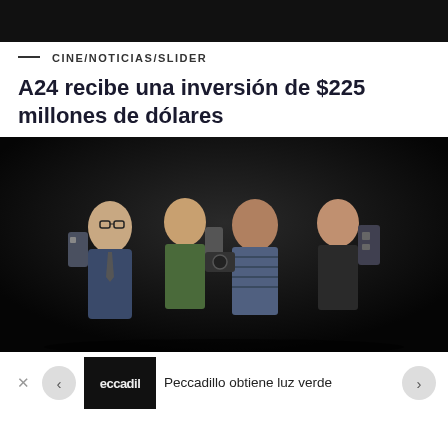[Figure (photo): Black top bar / header image area]
CINE/NOTICIAS/SLIDER
A24 recibe una inversión de $225 millones de dólares
[Figure (photo): Four people standing together against a dark background, appearing to be on a film set. They carry equipment on their backs.]
Peccadillo obtiene luz verde